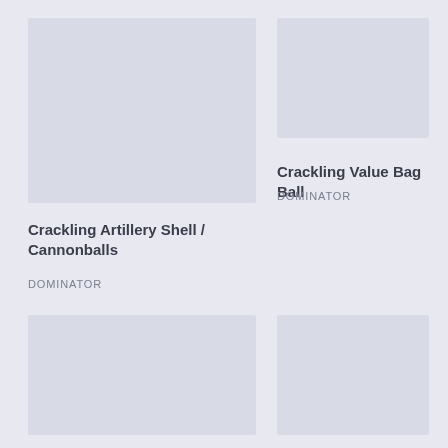[Figure (photo): Product image placeholder top-left]
[Figure (photo): Product image placeholder top-right]
Crackling Value Bag Ball
DOMINATOR
Crackling Artillery Shell / Cannonballs
DOMINATOR
[Figure (photo): Product image placeholder bottom-left]
[Figure (photo): Product image placeholder bottom-right]